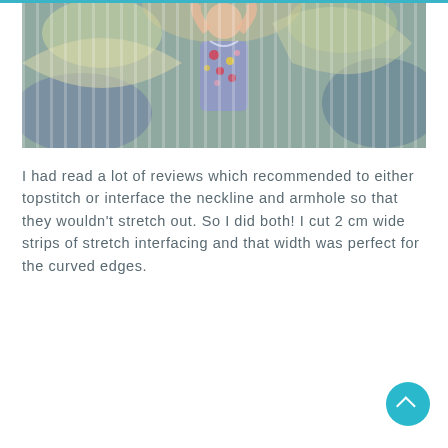[Figure (photo): A woman wearing a floral sleeveless dress/top, shown from torso up, with arms raised. Background appears to be a colorful mural or painted backdrop with leaf/plant motifs. The image has a semi-transparent vertical stripe overlay effect.]
I had read a lot of reviews which recommended to either topstitch or interface the neckline and armhole so that they wouldn't stretch out. So I did both! I cut 2 cm wide strips of stretch interfacing and that width was perfect for the curved edges.